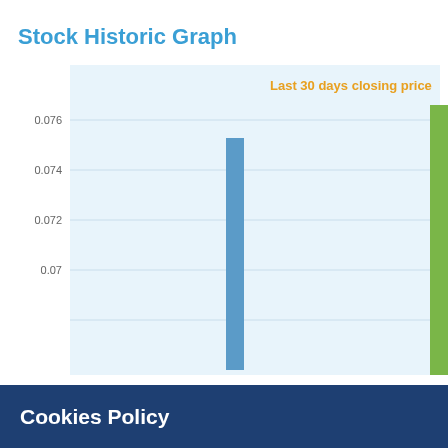Stock Historic Graph
[Figure (bar-chart): Bar chart showing last 30 days closing price with y-axis values around 0.070–0.076. Partially obscured by cookie consent modal.]
Cookies Policy
We use necessary cookies so that our website operates properly (allowing key features such as security, network management and accessibility) and optional statistics cookies (Google Analytics to help us improve our website by collecting and reporting information about how you use it). For more information about the cookies we use, you can refer to our cookies policy.  If you want to continue only with the necessary cookies, select "Reject", otherwise if you want to accept the statistics cookies select "Accept".